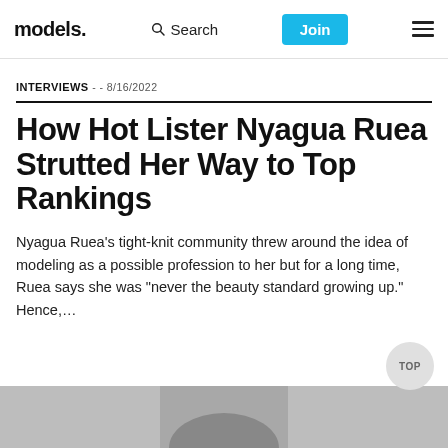models. | Search | Join
INTERVIEWS - - 8/16/2022
How Hot Lister Nyagua Ruea Strutted Her Way to Top Rankings
Nyagua Ruea's tight-knit community threw around the idea of modeling as a possible profession to her but for a long time, Ruea says she was "never the beauty standard growing up." Hence,...
[Figure (photo): Bottom of page photo strip showing a model, partially visible, grayscale background]